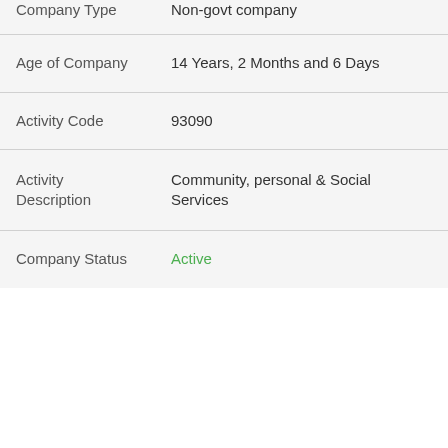| Field | Value |
| --- | --- |
| Company Type | Non-govt company |
| Age of Company | 14 Years, 2 Months and 6 Days |
| Activity Code | 93090 |
| Activity Description | Community, personal & Social Services |
| Company Status | Active |